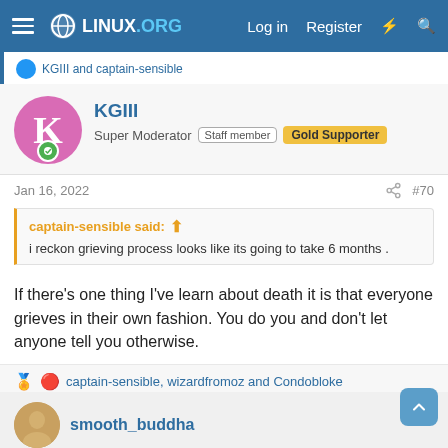LINUX.ORG — Log in  Register
KGIII and captain-sensible
KGIII
Super Moderator  Staff member  Gold Supporter
Jan 16, 2022  #70
captain-sensible said: i reckon grieving process looks like its going to take 6 months .
If there's one thing I've learn about death it is that everyone grieves in their own fashion. You do you and don't let anyone tell you otherwise.
captain-sensible, wizardfromoz and Condobloke
smooth_buddha